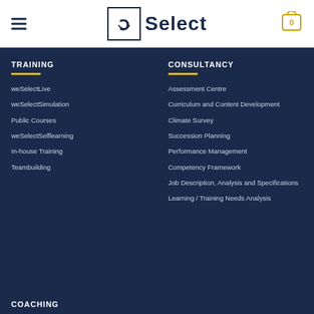weSelect | Select
TRAINING
weSelectLive
weSelectSimulation
Public Courses
weSelectSelflearning
In-house Training
Teambuilding
CONSULTANCY
Assessment Centre
Curriculum and Content Development
Climate Survey
Succession Planning
Performance Management
Competency Framework
Job Description, Analysis and Specifications
Learning / Training Needs Analysis
COACHING